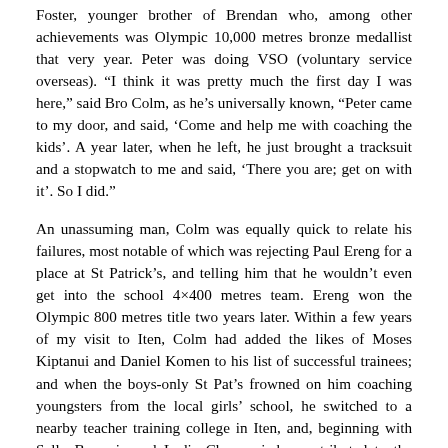Foster, younger brother of Brendan who, among other achievements was Olympic 10,000 metres bronze medallist that very year. Peter was doing VSO (voluntary service overseas). “I think it was pretty much the first day I was here,” said Bro Colm, as he’s universally known, “Peter came to my door, and said, ‘Come and help me with coaching the kids’. A year later, when he left, he just brought a tracksuit and a stopwatch to me and said, ‘There you are; get on with it’. So I did.”
An unassuming man, Colm was equally quick to relate his failures, most notable of which was rejecting Paul Ereng for a place at St Patrick’s, and telling him that he wouldn’t even get into the school 4×400 metres team. Ereng won the Olympic 800 metres title two years later. Within a few years of my visit to Iten, Colm had added the likes of Moses Kiptanui and Daniel Komen to his list of successful trainees; and when the boys-only St Pat’s frowned on him coaching youngsters from the local girls’ school, he switched to a nearby teacher training college in Iten, and, beginning with Sally Barsosio and Lydia Cheromei, he contributed to the success, among others of the Kiplagats, Edna, Florence and Lorna. The rest are too numerous to mention, but in addition to Mary Keitany, the apotheosis came at London 2012, when David Rudisha ran one of the greatest races in Olympic history, leading every step of the way